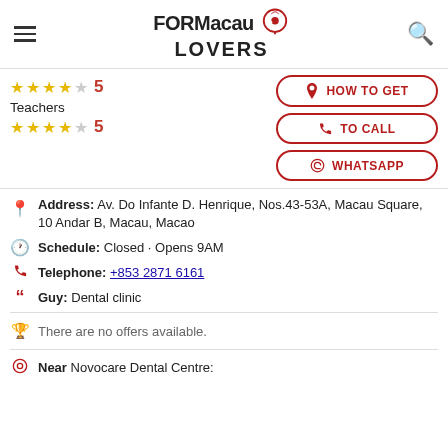FORMacau LOVERS
★★★★☆  5  Teachers  ★★★★☆  5
HOW TO GET | TO CALL | WHATSAPP
Address: Av. Do Infante D. Henrique, Nos.43-53A, Macau Square, 10 Andar B, Macau, Macao
Schedule: Closed · Opens 9AM
Telephone: +853 2871 6161
Guy: Dental clinic
There are no offers available.
Near Novocare Dental Centre: